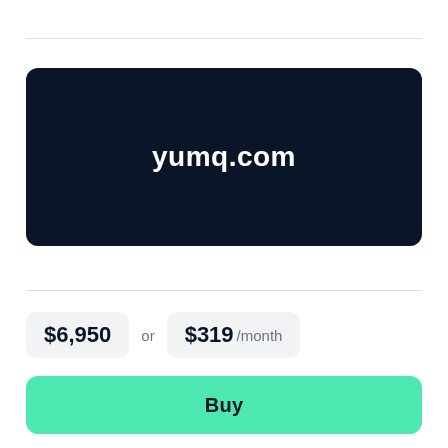[Figure (other): Dark navy banner displaying the domain name yumq.com in white bold text]
$6,950 or $319 /month
Buy